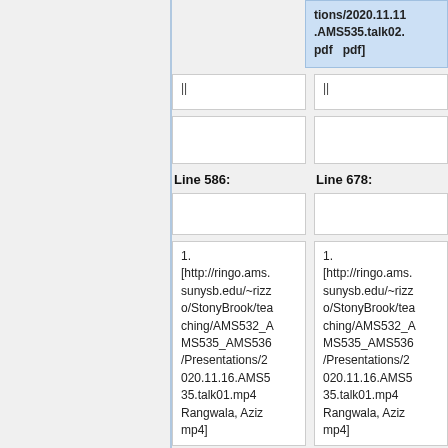tions/2020.11.11.AMS535.talk02.pdf   pdf]
||
||
Line 586:
Line 678:
1. [http://ringo.ams.sunysb.edu/~rizzo/StonyBrook/teaching/AMS532_AMS535_AMS536/Presentations/2020.11.16.AMS535.talk01.mp4 Rangwala, Aziz mp4]
1. [http://ringo.ams.sunysb.edu/~rizzo/StonyBrook/teaching/AMS532_AMS535_AMS536/Presentations/2020.11.16.AMS535.talk01.mp4 Rangwala, Aziz mp4]
<br>